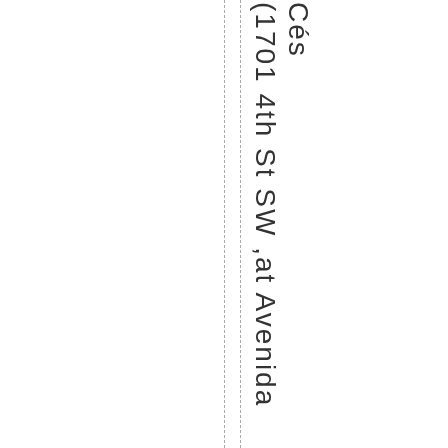(1701 4th St SW, at Avenida Cés